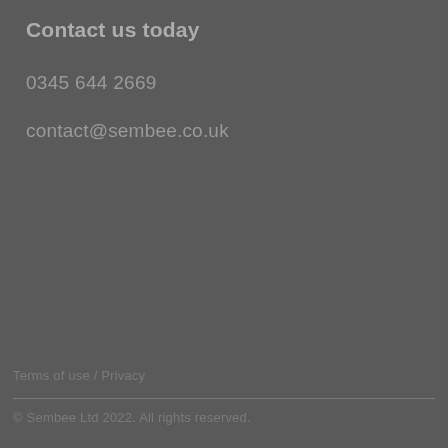Contact us today
0345 644 2669
contact@sembee.co.uk
Terms of use / Privacy
© Sembee Ltd 2022. All rights reserved.